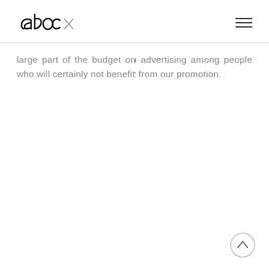[Figure (logo): abcx logo in handwritten/brush style black lettering]
large part of the budget on advertising among people who will certainly not benefit from our promotion.